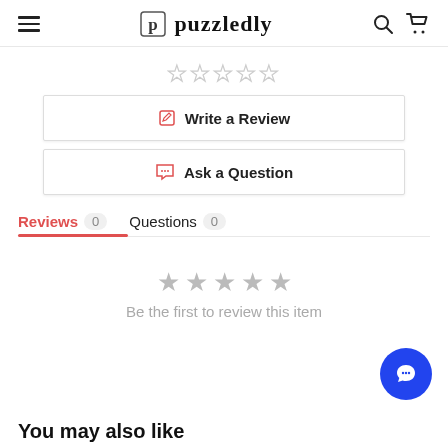puzzledly
[Figure (other): Five empty star rating icons in a row]
Write a Review
Ask a Question
Reviews 0   Questions 0
[Figure (other): Five gray star icons for empty review state]
Be the first to review this item
[Figure (other): Blue chat bubble icon button]
You may also like